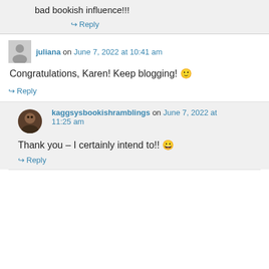bad bookish influence!!!
↪ Reply
juliana on June 7, 2022 at 10:41 am
Congratulations, Karen! Keep blogging! 🙂
↪ Reply
kaggsysbookishramblings on June 7, 2022 at 11:25 am
Thank you – I certainly intend to!! 😀
↪ Reply